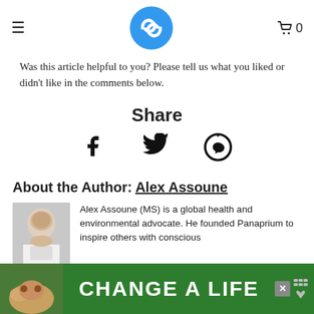≡  [Panaprium logo]  🛒 0
Was this article helpful to you? Please tell us what you liked or didn't like in the comments below.
Share
[Figure (illustration): Social share icons: Facebook (f), Twitter (bird), Pinterest (P)]
About the Author: Alex Assoune
[Figure (photo): Headshot photo of Alex Assoune, a bald man smiling, wearing a white shirt]
Alex Assoune (MS) is a global health and environmental advocate. He founded Panaprium to inspire others with conscious liv… ked in ma… ssues. He
[Figure (illustration): Advertisement banner with dog photo and text 'CHANGE A LIFE' on green background with close button]